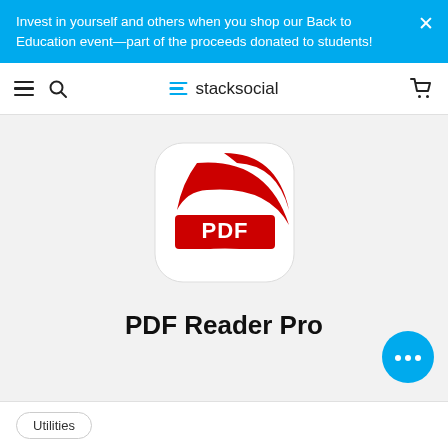Invest in yourself and others when you shop our Back to Education event—part of the proceeds donated to students!
stacksocial
[Figure (logo): PDF Reader Pro app icon: white rounded square background with a large red swoosh/arc shape and a red banner reading 'PDF' in white bold text, with a white curved stripe at the bottom]
PDF Reader Pro
Utilities